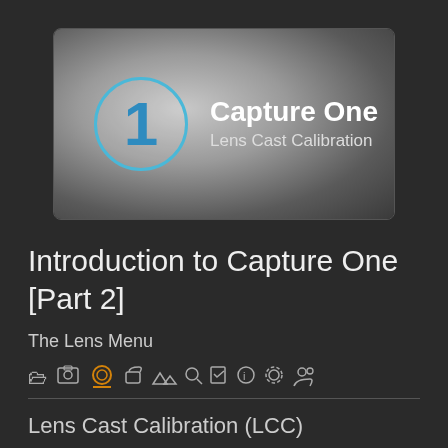[Figure (screenshot): Capture One software logo thumbnail: circular logo with number '1' in blue, text 'Capture One' and 'Lens Cast Calibration' on a grey gradient background]
Introduction to Capture One [Part 2]
The Lens Menu
[Figure (screenshot): Software toolbar icons row with lens/circle icon highlighted in orange with orange underline]
Lens Cast Calibration (LCC)